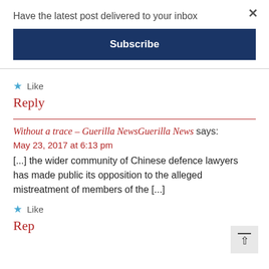Have the latest post delivered to your inbox
Subscribe
Like
Reply
Without a trace – Guerilla NewsGuerilla News says:
May 23, 2017 at 6:13 pm
[...] the wider community of Chinese defence lawyers has made public its opposition to the alleged mistreatment of members of the [...]
Like
Reply